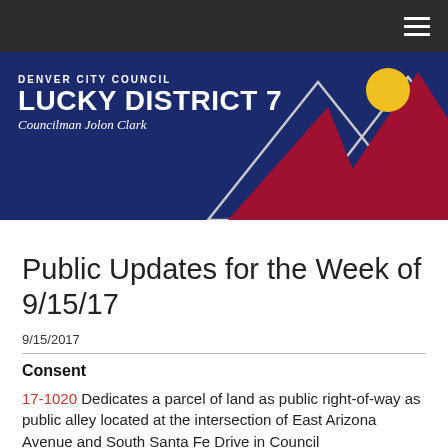[Figure (logo): Denver City Council Lucky District 7 banner with mountain landscape graphic and text: Denver City Council, LUCKY DISTRICT 7, Councilman Jolon Clark]
Public Updates for the Week of 9/15/17
9/15/2017
Consent
17-1020 Dedicates a parcel of land as public right-of-way as public alley located at the intersection of East Arizona Avenue and South Santa Fe Drive in Council